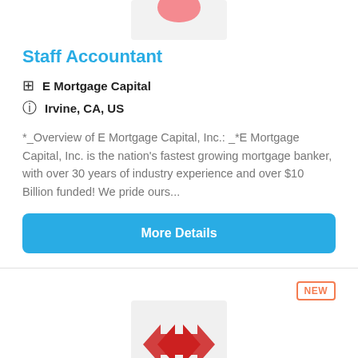[Figure (logo): Company logo placeholder with pink shape at top, gray background]
Staff Accountant
E Mortgage Capital
Irvine, CA, US
*_Overview of E Mortgage Capital, Inc.: _*E Mortgage Capital, Inc. is the nation's fastest growing mortgage banker, with over 30 years of industry experience and over $10 Billion funded! We pride ours...
More Details
[Figure (logo): Red double-arrow X logo on gray background, NEW badge in top right corner]